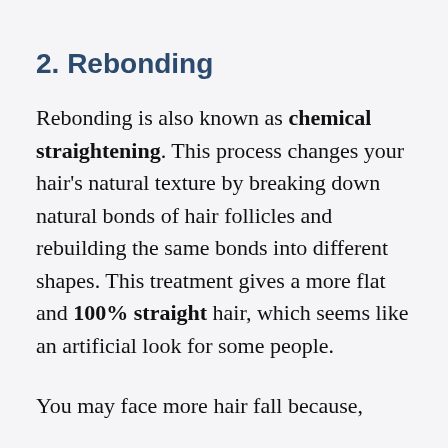2. Rebonding
Rebonding is also known as chemical straightening. This process changes your hair's natural texture by breaking down natural bonds of hair follicles and rebuilding the same bonds into different shapes. This treatment gives a more flat and 100% straight hair, which seems like an artificial look for some people.
You may face more hair fall because,